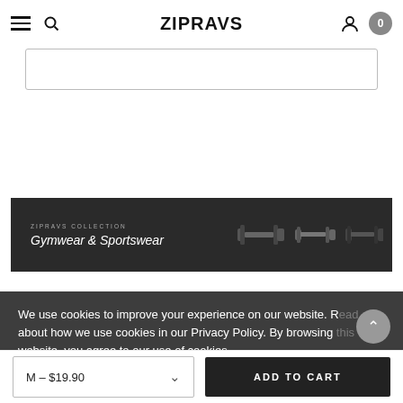ZIPRAVS
[Figure (screenshot): Search input box area below header]
[Figure (photo): Banner showing ZIPRAVS COLLECTION Gymwear & Sportswear text with dumbbell weights on dark background]
We use cookies to improve your experience on our website. Read about how we use cookies in our Privacy Policy. By browsing this website, you agree to our use of cookies.
PRIVACY POLICY   ACCEPT ✓
SUBSCRIBE
M – $19.90
ADD TO CART